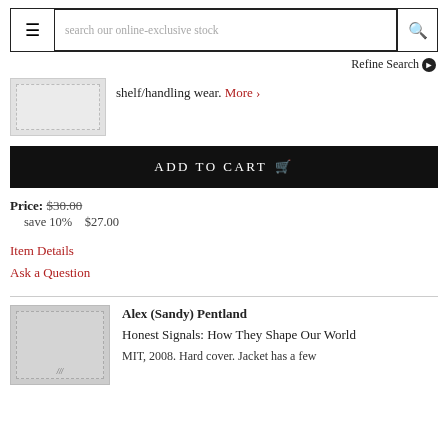search our online-exclusive stock
Refine Search
[Figure (photo): Book thumbnail placeholder image with dashed border]
shelf/handling wear. More >
ADD TO CART
Price: $30.00 save 10% $27.00
Item Details
Ask a Question
[Figure (photo): Book cover thumbnail placeholder]
Alex (Sandy) Pentland
Honest Signals: How They Shape Our World
MIT, 2008. Hard cover. Jacket has a few